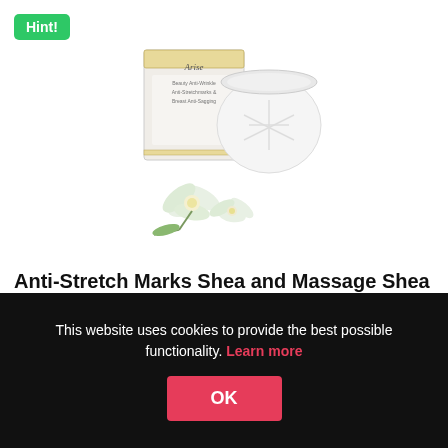[Figure (photo): Product photo of Arise cosmetic anti-stretch marks shea butter cream jar and box, with white edelweiss flowers in front]
Anti-Stretch Marks Shea and Massage Shea Butter
For all skin types and ages Arise Cosmetic have developed the first nature of Shea Butter for the prevention of stretch marks. The odorless butter is absorbed quickly – without a long wait. Our edelweiss extract enriched shea butter has...
This website uses cookies to provide the best possible functionality. Learn more
OK